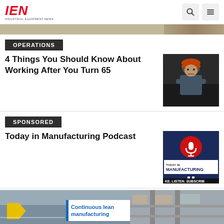IEN - Industrial Equipment News
[Figure (photo): Small top banner image strip]
OPERATIONS
4 Things You Should Know About Working After You Turn 65
[Figure (photo): Worker in orange hard hat with arms crossed in industrial setting]
SPONSORED
Today in Manufacturing Podcast
[Figure (photo): Today in Manufacturing podcast logo and advertisement - dark blue background with red circle icon, text reads TODAY IN MANUFACTURING, LIKE. LISTEN. SUBSCRIBE]
[Figure (photo): Continuous lean manufacturing image at bottom of page, warehouse/factory floor scene with yellow arrow marker]